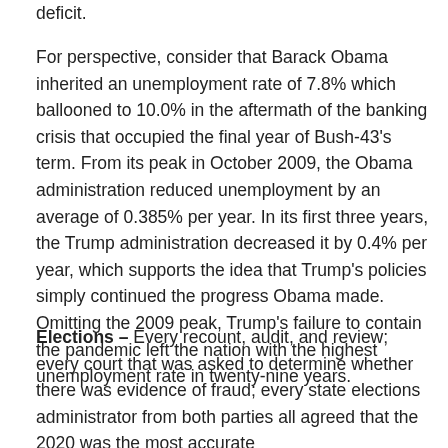deficit.
For perspective, consider that Barack Obama inherited an unemployment rate of 7.8% which ballooned to 10.0% in the aftermath of the banking crisis that occupied the final year of Bush-43's term. From its peak in October 2009, the Obama administration reduced unemployment by an average of 0.385% per year. In its first three years, the Trump administration decreased it by 0.4% per year, which supports the idea that Trump's policies simply continued the progress Obama made. Omitting the 2009 peak, Trump's failure to contain the pandemic left the nation with the highest unemployment rate in twenty-nine years.
Elections – Every recount, audit, and review; every court that was asked to determine whether there was evidence of fraud; every state elections administrator from both parties all agreed that the 2020 was the most accurate...